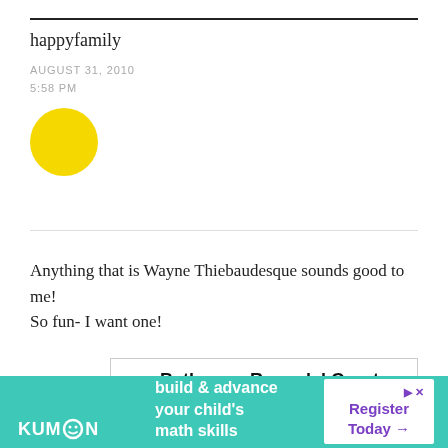happyfamily
AUGUST 31, 2010
5:58 PM
[Figure (illustration): Yellow circle avatar placeholder]
Anything that is Wayne Thiebaudesque sounds good to me! So fun- I want one!
[Figure (other): Advertisement box with title: Bathroom Remodel Grants for Seniors]
[Figure (other): Kumon advertisement banner: build & advance your child's math skills. Register Today arrow. With Kumon logo and close button.]